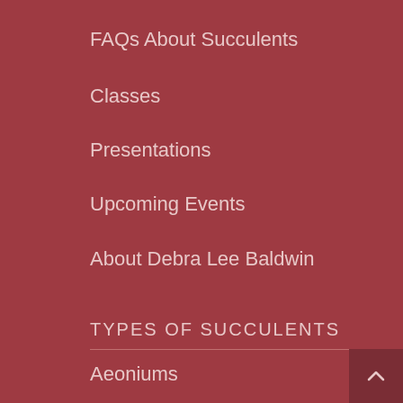FAQs About Succulents
Classes
Presentations
Upcoming Events
About Debra Lee Baldwin
TYPES OF SUCCULENTS
Aeoniums
Aloes
Agaves
Cacti
Crassulas